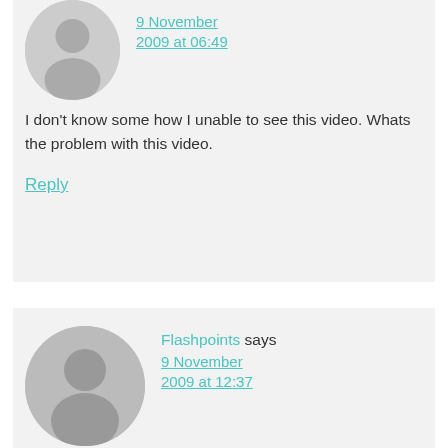[Figure (illustration): Gray circular avatar placeholder with person silhouette, partially cropped at top]
9 November 2009 at 06:49
I don't know some how I unable to see this video. Whats the problem with this video.
Reply
[Figure (illustration): Gray circular avatar placeholder with person silhouette]
Flashpoints says
9 November 2009 at 12:37
What is the meaning of this